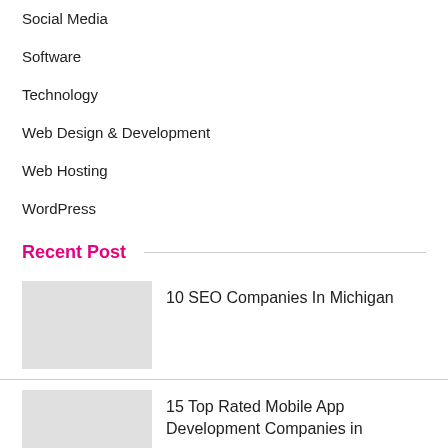Social Media
Software
Technology
Web Design & Development
Web Hosting
WordPress
Recent Post
10 SEO Companies In Michigan
15 Top Rated Mobile App Development Companies in